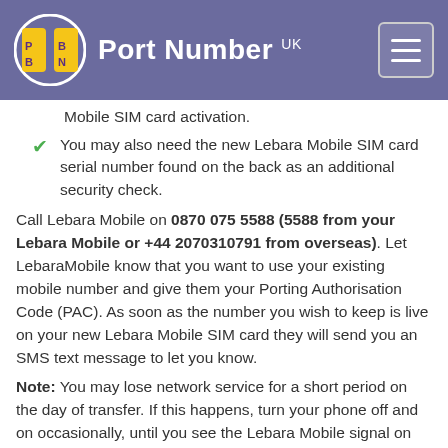Port Number UK
Mobile SIM card activation.
You may also need the new Lebara Mobile SIM card serial number found on the back as an additional security check.
Call Lebara Mobile on 0870 075 5588 (5588 from your Lebara Mobile or +44 2070310791 from overseas). Let LebaraMobile know that you want to use your existing mobile number and give them your Porting Authorisation Code (PAC). As soon as the number you wish to keep is live on your new Lebara Mobile SIM card they will send you an SMS text message to let you know.
Note: You may lose network service for a short period on the day of transfer. If this happens, turn your phone off and on occasionally, until you see the Lebara Mobile signal on your mobile phone screen. This will indicate that the transfer is complete, and you can now use your old phone number in your new mobile network provider.
For more information and latest offers on mobile phone number...